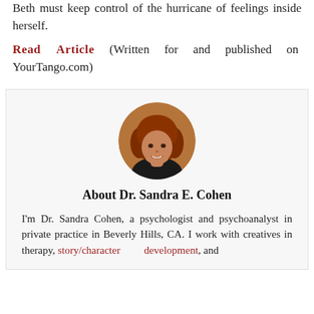Beth must keep control of the hurricane of feelings inside herself.
Read Article (Written for and published on YourTango.com)
[Figure (photo): Circular headshot photo of Dr. Sandra E. Cohen, a woman with curly auburn hair, smiling, wearing a dark top.]
About Dr. Sandra E. Cohen
I'm Dr. Sandra Cohen, a psychologist and psychoanalyst in private practice in Beverly Hills, CA. I work with creatives in therapy, story/character development, and